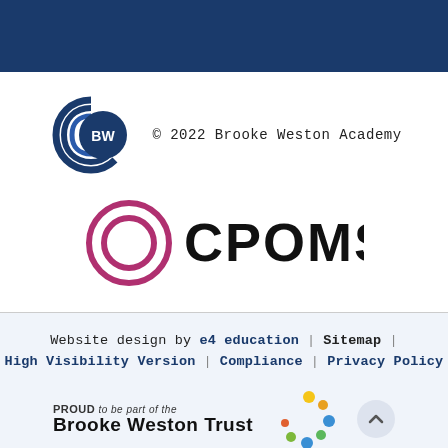[Figure (other): Dark navy blue header bar at top of page]
[Figure (logo): Brooke Weston Academy BW circular logo in blue]
© 2022 Brooke Weston Academy
[Figure (logo): CPOMS logo - a dark pink/magenta concentric circles target icon followed by the text CPOMS in bold black]
Website design by e4 education | Sitemap | High Visibility Version | Compliance | Privacy Policy
[Figure (logo): PROUD to be part of the Brooke Weston Trust logo with colorful dot pattern]
[Figure (other): Scroll to top button - circular grey button with upward chevron]